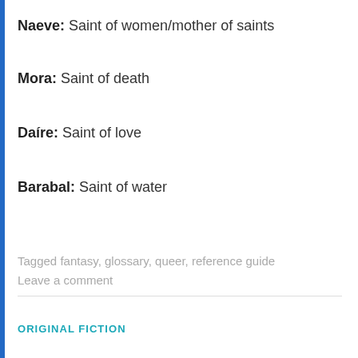Naeve: Saint of women/mother of saints
Mora: Saint of death
Daíre: Saint of love
Barabal: Saint of water
Tagged fantasy, glossary, queer, reference guide
Leave a comment
ORIGINAL FICTION